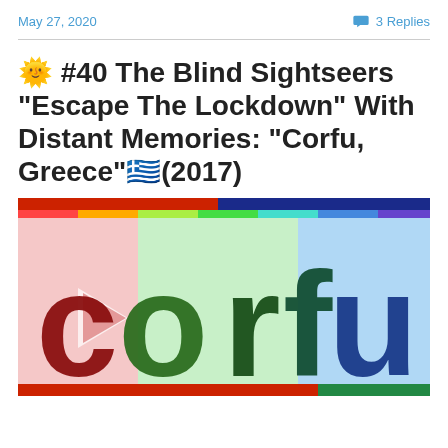May 27, 2020   💬 3 Replies
🌞 #40 The Blind Sightseers "Escape The Lockdown" With Distant Memories: "Corfu, Greece"🇬🇷(2017)
[Figure (photo): Colorful image with large text 'corfu' in bold lettering with a rainbow/multicolor gradient background including red, green, blue colors and a play button arrow icon.]